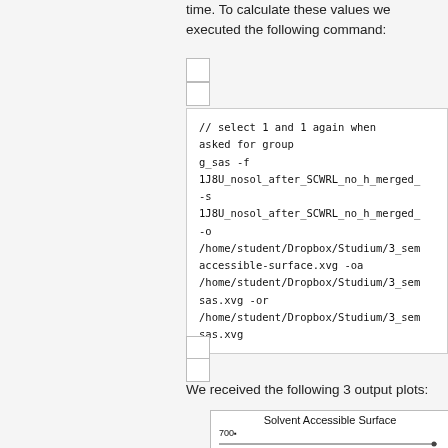time. To calculate these values we executed the following command:
[Figure (other): Small icon placeholder 1]
[Figure (other): Small icon placeholder 2]
// select 1 and 1 again when asked for group
g_sas -f 1J8U_nosol_after_SCWRL_no_h_merged_ -s 1J8U_nosol_after_SCWRL_no_h_merged_ -o /home/student/Dropbox/Studium/3_sem accessible-surface.xvg -oa /home/student/Dropbox/Studium/3_sem sas.xvg -or /home/student/Dropbox/Studium/3_sem sas.xvg
[Figure (other): Small icon placeholder 3]
[Figure (other): Small icon placeholder 4]
We received the following 3 output plots:
[Figure (continuous-plot): Solvent Accessible Surface plot with y-axis starting at 700]